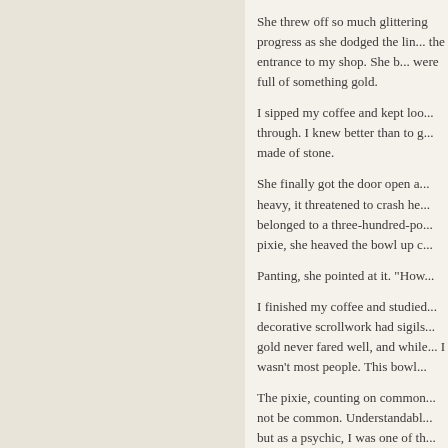She threw off so much glittering progress as she dodged the li... the entrance to my shop. She b... were full of something gold.
I sipped my coffee and kept loo... through. I knew better than to g... made of stone.
She finally got the door open a... heavy, it threatened to crash he... belonged to a three-hundred-po... pixie, she heaved the bowl up c...
Panting, she pointed at it. "How...
I finished my coffee and studied... decorative scrollwork had sigils... gold never fared well, and while... I wasn't most people. This bowl...
The pixie, counting on common... not be common. Understandabl... but as a psychic, I was one of th...
It ran in the blood. My family's r... escaped the noose by virtue of...